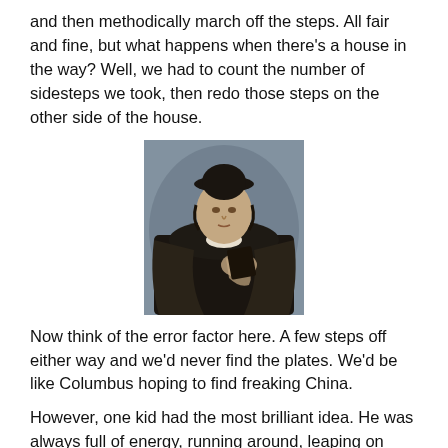and then methodically march off the steps. All fair and fine, but what happens when there's a house in the way? Well, we had to count the number of sidesteps we took, then redo those steps on the other side of the house.
[Figure (photo): Portrait painting of Christopher Columbus, a man in dark Renaissance-era clothing with a hat, holding something against his chest against a grey background.]
Now think of the error factor here. A few steps off either way and we'd never find the plates. We'd be like Columbus hoping to find freaking China.
However, one kid had the most brilliant idea. He was always full of energy, running around, leaping on things